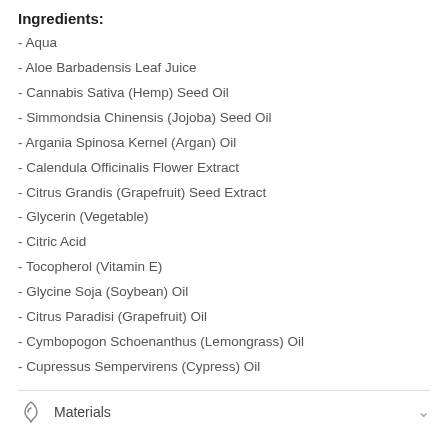Ingredients:
- Aqua
- Aloe Barbadensis Leaf Juice
- Cannabis Sativa (Hemp) Seed Oil
- Simmondsia Chinensis (Jojoba) Seed Oil
- Argania Spinosa Kernel (Argan) Oil
- Calendula Officinalis Flower Extract
- Citrus Grandis (Grapefruit) Seed Extract
- Glycerin (Vegetable)
- Citric Acid
- Tocopherol (Vitamin E)
- Glycine Soja (Soybean) Oil
- Citrus Paradisi (Grapefruit) Oil
- Cymbopogon Schoenanthus (Lemongrass) Oil
- Cupressus Sempervirens (Cypress) Oil
Materials